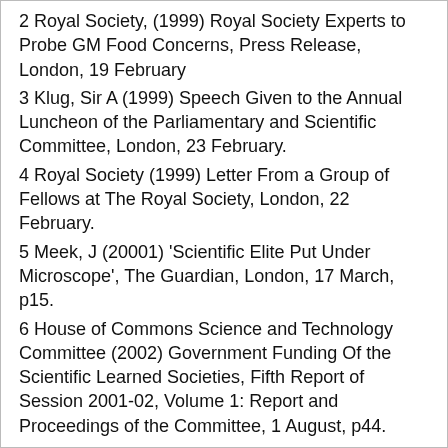2 Royal Society, (1999) Royal Society Experts to Probe GM Food Concerns, Press Release, London, 19 February
3 Klug, Sir A (1999) Speech Given to the Annual Luncheon of the Parliamentary and Scientific Committee, London, 23 February.
4 Royal Society (1999) Letter From a Group of Fellows at The Royal Society, London, 22 February.
5 Meek, J (20001) 'Scientific Elite Put Under Microscope', The Guardian, London, 17 March, p15.
6 House of Commons Science and Technology Committee (2002) Government Funding Of the Scientific Learned Societies, Fifth Report of Session 2001-02, Volume 1: Report and Proceedings of the Committee, 1 August, p44.
7 Leake, J (2002) 'Royal Society Found Guilty of Keeping out Woman Scientists', The Sunday Times, London, 28 July, p7.
8 House of Commons Science and Technology Committee (2002) op. cit., pp 48-48.